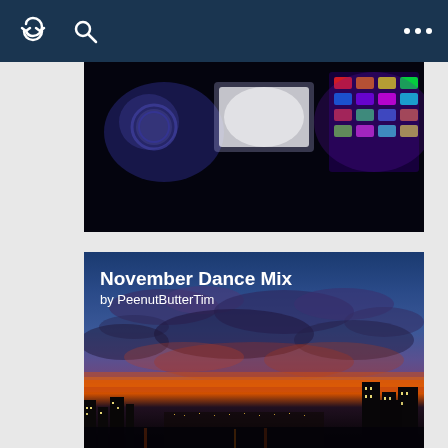Navigation bar with loop icon, search icon, and menu dots
[Figure (photo): Partially cropped photo of a car dashboard or DJ mixing setup with blue/purple lighting and illuminated screens/controls]
November Dance Mix
by PeenutButterTim
[Figure (photo): City skyline at sunset/dusk with dramatic orange and purple clouds, illuminated city buildings in background]